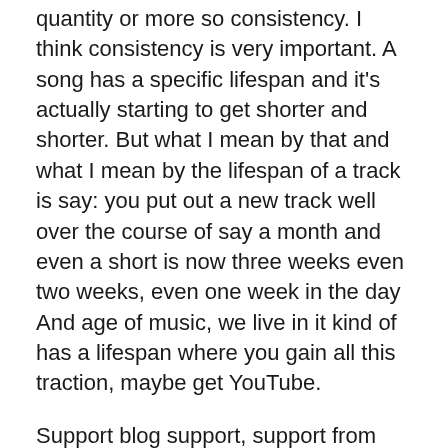quantity or more so consistency. I think consistency is very important. A song has a specific lifespan and it's actually starting to get shorter and shorter. But what I mean by that and what I mean by the lifespan of a track is say: you put out a new track well over the course of say a month and even a short is now three weeks even two weeks, even one week in the day And age of music, we live in it kind of has a lifespan where you gain all this traction, maybe get YouTube.
Support blog support, support from your friends. You gain this new attention for it, you gain these followers. You gain these fans, you gain these listens and it reaches a peak and then it quickly steeply starts to cut off and the track quickly becomes forgotten for the most part in this day and age of music. Unless, of course, it's a masterpiece and it's